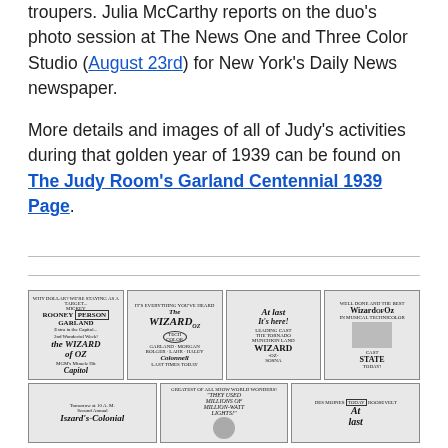troupers. Julia McCarthy reports on the duo's photo session at The News One and Three Color Studio (August 23rd) for New York's Daily News newspaper.
More details and images of all of Judy's activities during that golden year of 1939 can be found on The Judy Room's Garland Centennial 1939 Page.
[Figure (photo): A grid of vintage newspaper advertisements for The Wizard of Oz (1939). Top row shows four black-and-white ad clippings featuring Mickey Rooney, Judy Garland, and Wizard of Oz promotional text including 'Capitol', 'Technicolor', 'At last It's here!', and 'STATE'. Bottom row shows three more ads including 'Iszard's-Colonial', a spotlight/performer ad, and a Des Moines Roosevelt theater ad reading 'At Last'.]